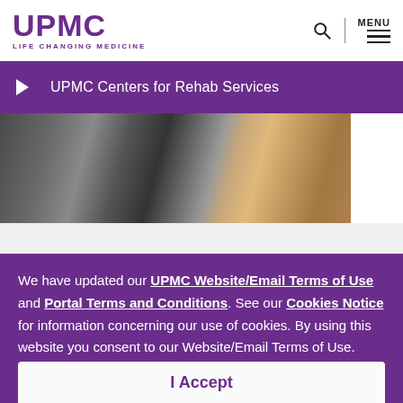UPMC LIFE CHANGING MEDICINE
UPMC Centers for Rehab Services
[Figure (photo): Hands typing on a laptop keyboard, person wearing an orange/yellow sleeve]
We have updated our UPMC Website/Email Terms of Use and Portal Terms and Conditions. See our Cookies Notice for information concerning our use of cookies. By using this website you consent to our Website/Email Terms of Use.
I Accept